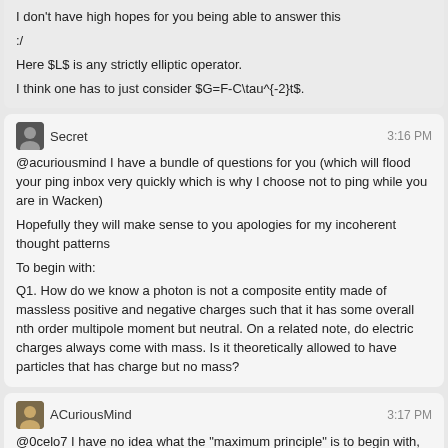I don't have high hopes for you being able to answer this
:/
Here $L$ is any strictly elliptic operator.
I think one has to just consider $G=F-C\tau^{-2}t$.
Secret 3:16 PM
@acuriousmind I have a bundle of questions for you (which will flood your ping inbox very quickly which is why I choose not to ping while you are in Wacken)

Hopefully they will make sense to you apologies for my incoherent thought patterns

To begin with:

Q1. How do we know a photon is not a composite entity made of massless positive and negative charges such that it has some overall nth order multipole moment but neutral. On a related note, do electric charges always come with mass. Is it theoretically allowed to have particles that has charge but no mass?
ACuriousMind 3:17 PM
@0celo7 I have no idea what the "maximum principle" is to begin with, so no, I can't answer that :P
0celo7 3:17 PM
Too bad
@ACuriousMind $H^0_{dR}(\Bbb N)$ is just $\prod_{\Bbb N}\Bbb R$, right?
ACuriousMind 3:19 PM
@Secret Charged massless particles are allowed. We "know" the photon is not composite because there's no evidence of it being composite.
Secret 3:19 PM